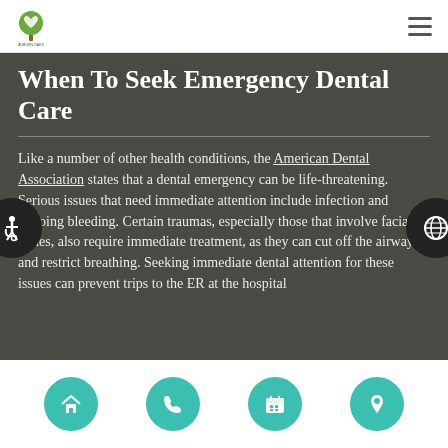[Figure (logo): Auburn Oaks Family Dentistry logo with tree and heart]
When To Seek Emergency Dental Care
Like a number of other health conditions, the American Dental Association states that a dental emergency can be life-threatening. Serious issues that need immediate attention include infection and ongoing bleeding. Certain traumas, especially those that involve facial bones, also require immediate treatment, as they can cut off the airway and restrict breathing. Seeking immediate dental attention for these issues can prevent trips to the ER at the hospital.